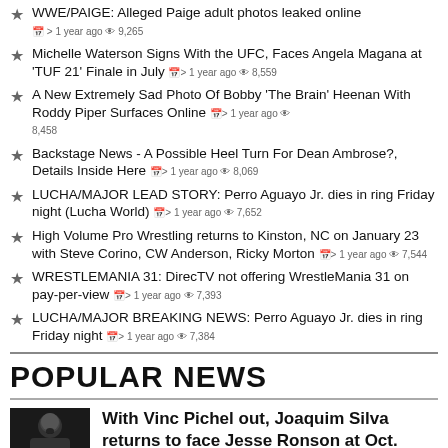WWE/PAIGE: Alleged Paige adult photos leaked online > 1 year ago 9,265
Michelle Waterson Signs With the UFC, Faces Angela Magana at 'TUF 21' Finale in July > 1 year ago 8,559
A New Extremely Sad Photo Of Bobby 'The Brain' Heenan With Roddy Piper Surfaces Online > 1 year ago 8,458
Backstage News - A Possible Heel Turn For Dean Ambrose?, Details Inside Here > 1 year ago 8,069
LUCHA/MAJOR LEAD STORY: Perro Aguayo Jr. dies in ring Friday night (Lucha World) > 1 year ago 7,652
High Volume Pro Wrestling returns to Kinston, NC on January 23 with Steve Corino, CW Anderson, Ricky Morton > 1 year ago 7,544
WRESTLEMANIA 31: DirecTV not offering WrestleMania 31 on pay-per-view > 1 year ago 7,393
LUCHA/MAJOR BREAKING NEWS: Perro Aguayo Jr. dies in ring Friday night > 1 year ago 7,384
POPULAR NEWS
With Vinc Pichel out, Joaquim Silva returns to face Jesse Ronson at Oct.